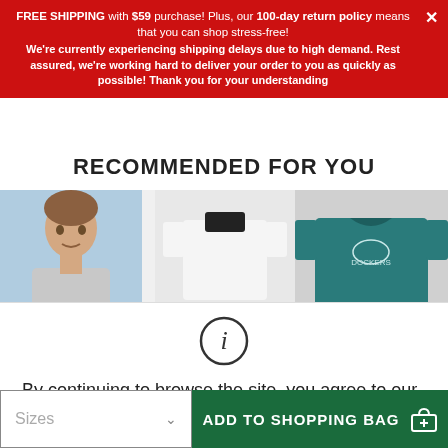FREE SHIPPING with $59 purchase! Plus, our 100-day return policy means that you can shop stress-free! We're currently experiencing shipping delays due to high demand. Rest assured, we're working hard to deliver your order to you as quickly as possible! Thank you for your understanding
RECOMMENDED FOR YOU
[Figure (photo): Three product images: a man in a light blue background on the left, a white/black shirt in the center, and a teal graphic shirt on the right]
[Figure (infographic): Info icon (circle with letter i) above cookie consent text]
By continuing to browse the site, you agree to our use of cookies. Cookies help us to improve the quality of our website and enable us to provide you with customized offers and social sharing options. More details.
Sizes
ADD TO SHOPPING BAG